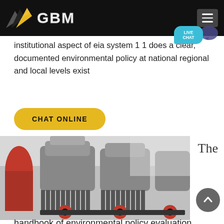[Figure (logo): GBM logo with mountain graphic on black header bar, hamburger menu icon top right]
institutional aspect of eia system 11 does a clear, documented environmental policy at national regional and local levels exist
[Figure (other): Yellow CHAT ONLINE button with rounded corners]
[Figure (photo): Industrial cone crushers / mining machinery in a factory setting, grey and red, with 'The' text to the right]
handbook of environmental policy evaluation